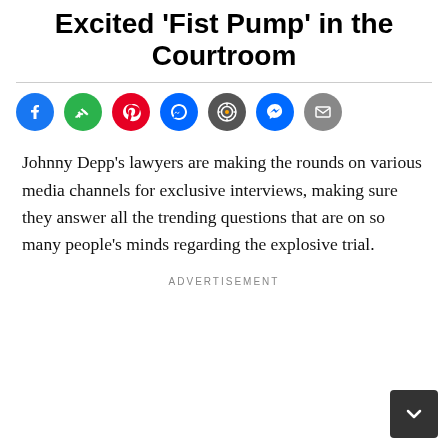Excited 'Fist Pump' in the Courtroom
[Figure (infographic): Row of 7 social media sharing icon circles: Facebook (blue), Feedly (green), Pinterest (red), Messenger/notifications (blue), a target/bullseye icon (dark), Messenger (blue), Email (grey)]
Johnny Depp’s lawyers are making the rounds on various media channels for exclusive interviews, making sure they answer all the trending questions that are on so many people’s minds regarding the explosive trial.
ADVERTISEMENT